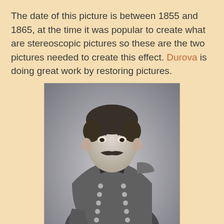The date of this picture is between 1855 and 1865, at the time it was popular to create what are stereoscopic pictures so these are the two pictures needed to create this effect. Durova is doing great work by restoring pictures.
[Figure (photo): Black and white portrait photograph of a Union Army officer in military uniform, seated, with a mustache and curly hair, dated between 1855 and 1865.]
This is a partially restored picture and it is very much